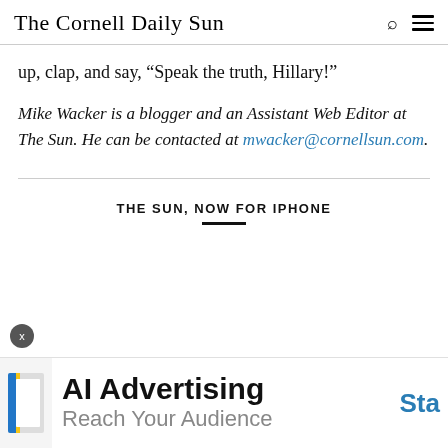The Cornell Daily Sun
up, clap, and say, “Speak the truth, Hillary!”
Mike Wacker is a blogger and an Assistant Web Editor at The Sun. He can be contacted at mwacker@cornellsun.com.
THE SUN, NOW FOR IPHONE
[Figure (other): Advertisement banner: AI Advertising - Reach Your Audience, with a blue 'Sta' CTA button partially visible]